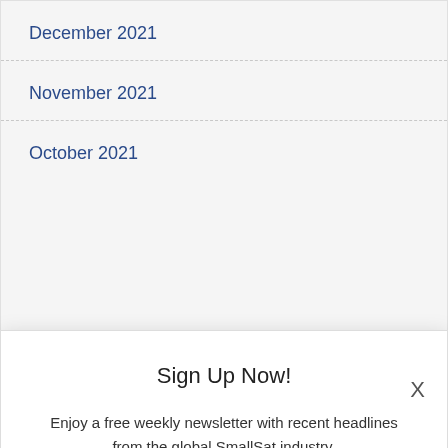December 2021
November 2021
October 2021
Sign Up Now!
Enjoy a free weekly newsletter with recent headlines from the global SmallSat industry.
Enter your name
Enter your email